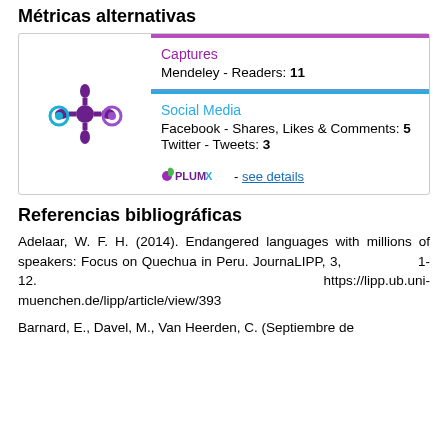Métricas alternativas
[Figure (infographic): PlumX metrics widget showing a purple Altmetric-style logo on the left, with Captures section (Mendeley - Readers: 11) and Social Media section (Facebook - Shares, Likes & Comments: 5, Twitter - Tweets: 3), with a PlumX logo and 'see details' link at the bottom.]
Referencias bibliográficas
Adelaar, W. F. H. (2014). Endangered languages with millions of speakers: Focus on Quechua in Peru. JournaLIPP, 3, 1-12. https://lipp.ub.uni-muenchen.de/lipp/article/view/393
Barnard, E., Davel, M., Van Heerden, C. (Septiembre de